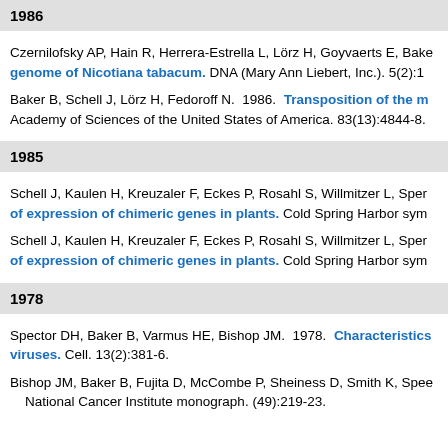1986
Czernilofsky AP, Hain R, Herrera-Estrella L, Lörz H, Goyvaerts E, Bake… genome of Nicotiana tabacum. DNA (Mary Ann Liebert, Inc.). 5(2):10…
Baker B, Schell J, Lörz H, Fedoroff N.  1986.  Transposition of the m… Academy of Sciences of the United States of America. 83(13):4844-8.
1985
Schell J, Kaulen H, Kreuzaler F, Eckes P, Rosahl S, Willmitzer L, Sper… of expression of chimeric genes in plants. Cold Spring Harbor sym…
Schell J, Kaulen H, Kreuzaler F, Eckes P, Rosahl S, Willmitzer L, Sper… of expression of chimeric genes in plants. Cold Spring Harbor sym…
1978
Spector DH, Baker B, Varmus HE, Bishop JM.  1978.  Characteristics… viruses. Cell. 13(2):381-6.
Bishop JM, Baker B, Fujita D, McCombe P, Sheiness D, Smith K, Spee… National Cancer Institute monograph. (49):219-23.